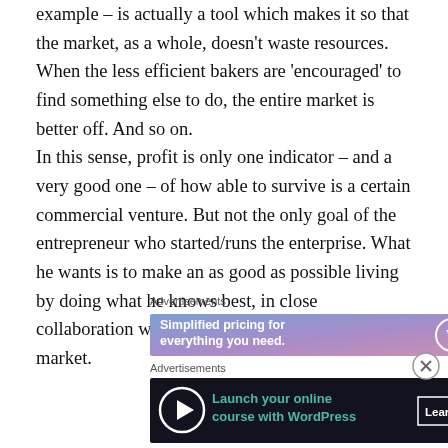example – is actually a tool which makes it so that the market, as a whole, doesn't waste resources. When the less efficient bakers are 'encouraged' to find something else to do, the entire market is better off. And so on. In this sense, profit is only one indicator – and a very good one – of how able to survive is a certain commercial venture. But not the only goal of the entrepreneur who started/runs the enterprise. What he wants is to make an as good as possible living by doing what he knows best, in close collaboration with the other participants to the free market.
Advertisements
[Figure (other): WordPress.com advertisement banner: 'Simplified pricing for everything you need.' with WordPress.com logo on gradient blue-purple-pink background.]
Advertisements
[Figure (other): WordPress advertisement banner: 'Launch your online course with WordPress' with Learn More button on dark navy background with teal text and upload icon.]